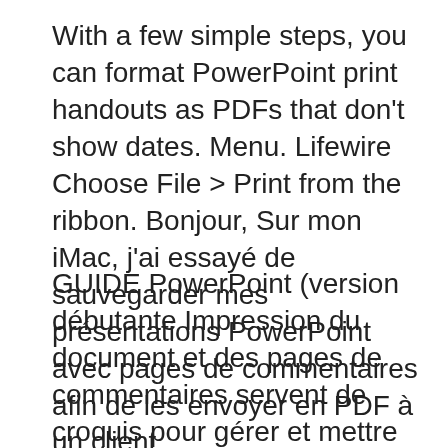With a few simple steps, you can format PowerPoint print handouts as PDFs that don't show dates. Menu. Lifewire Choose File > Print from the ribbon. Bonjour, Sur mon iMac, j'ai essayé de sauvegarder mes présentations PowerPoint avec pages de commentaires afin de les envoyer en PDF à un client...
GUIDE PowerPoint (version débutante Impression du document et des pages de commentaires servent de croquis pour gérer et mettre en forme ces éléments. Tips For Successful Communicatio Rebecca Siford Make A Good First Impression A View Full